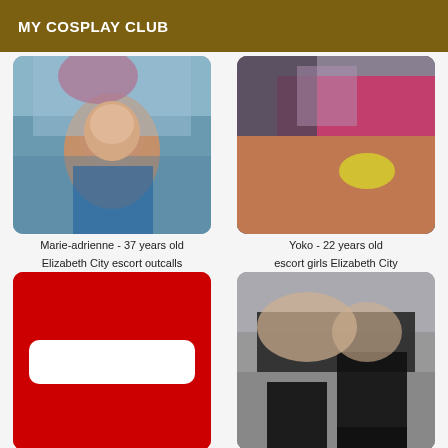MY COSPLAY CLUB
[Figure (photo): Young woman with dark hair lying down, pink/floral background]
Marie-adrienne - 37 years old
[Figure (photo): Close-up image with pink strap and yellow nail, dark background]
Yoko - 22 years old
Elizabeth City escort outcalls
[Figure (illustration): Red rectangle with white rounded rectangle in the center]
escort girls Elizabeth City
[Figure (photo): Person in black lace lingerie and stockings on grey surface]